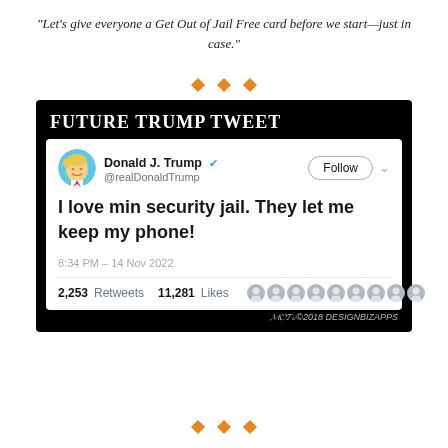"Let's give everyone a Get Out of Jail Free card before we start—just in case."
[Figure (illustration): Three orange diamond decorative dividers]
[Figure (illustration): Satirical cartoon mock-up of a Twitter tweet card on a black background labeled 'Future Trump Tweet'. Tweet from Donald J. Trump @realDonaldTrump reading: 'I love min security jail. They let me keep my phone!' dated 8:34 PM - 14 Nov 2022 with 2,253 Retweets and 11,281 Likes and avatar icons. Artist signature at bottom right.]
[Figure (illustration): Three orange diamond decorative dividers]